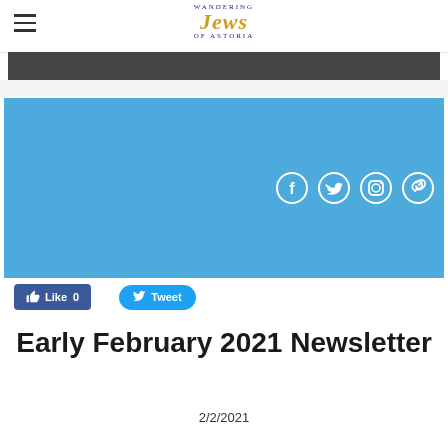Wandering Jews of Astoria
[Figure (screenshot): Dark gray banner bar below the header]
[Figure (illustration): Blue social media section with Facebook, Twitter, Instagram, and link/website circular icons in white outline]
[Figure (infographic): Facebook Like button showing count 0 and Twitter Tweet button]
Early February 2021 Newsletter
2/2/2021